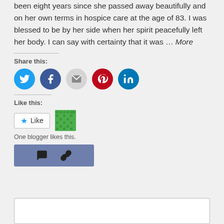been eight years since she passed away beautifully and on her own terms in hospice care at the age of 83. I was blessed to be by her side when her spirit peacefully left her body. I can say with certainty that it was … More
Share this:
[Figure (illustration): Row of social sharing icon circles: Twitter (blue), Facebook (dark blue), Email (gray), Pinterest (red), LinkedIn (teal)]
Like this:
[Figure (illustration): Like button with star icon and green avatar thumbnail. Text: One blogger likes this.]
[Figure (illustration): Purple action bar with comment bubble icon and link icon]
[Figure (illustration): Empty white comment box at bottom of page]